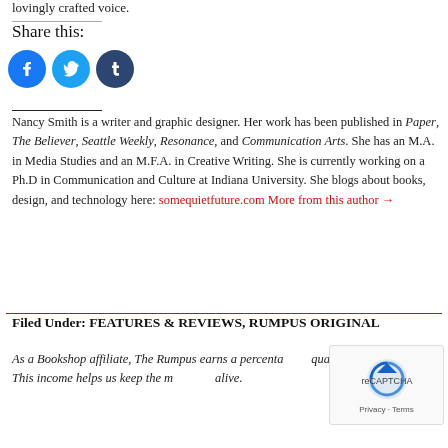lovingly crafted voice.
Share this:
[Figure (other): Social sharing icons: Facebook (blue circle), Twitter (light blue circle), Tumblr (dark blue circle)]
Nancy Smith is a writer and graphic designer. Her work has been published in Paper, The Believer, Seattle Weekly, Resonance, and Communication Arts. She has an M.A. in Media Studies and an M.F.A. in Creative Writing. She is currently working on a Ph.D in Communication and Culture at Indiana University. She blogs about books, design, and technology here: somequietfuture.com More from this author →
Filed Under: FEATURES & REVIEWS, RUMPUS ORIGINAL
As a Bookshop affiliate, The Rumpus earns a percentage of qualifying purchases. This income helps us keep the magazine alive.